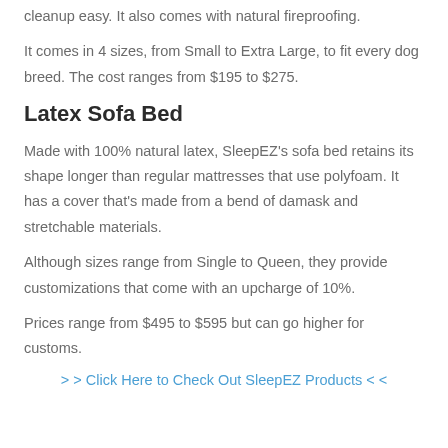cleanup easy. It also comes with natural fireproofing.
It comes in 4 sizes, from Small to Extra Large, to fit every dog breed. The cost ranges from $195 to $275.
Latex Sofa Bed
Made with 100% natural latex, SleepEZ's sofa bed retains its shape longer than regular mattresses that use polyfoam. It has a cover that's made from a bend of damask and stretchable materials.
Although sizes range from Single to Queen, they provide customizations that come with an upcharge of 10%.
Prices range from $495 to $595 but can go higher for customs.
> > Click Here to Check Out SleepEZ Products < <